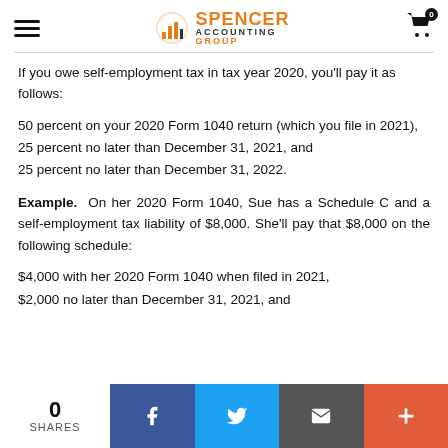Spencer Accounting Group — navigation header
If you owe self-employment tax in tax year 2020, you'll pay it as follows:
50 percent on your 2020 Form 1040 return (which you file in 2021),
25 percent no later than December 31, 2021, and
25 percent no later than December 31, 2022.
Example. On her 2020 Form 1040, Sue has a Schedule C and a self-employment tax liability of $8,000. She'll pay that $8,000 on the following schedule:
$4,000 with her 2020 Form 1040 when filed in 2021,
$2,000 no later than December 31, 2021, and
0 SHARES | Facebook | Twitter | Email | Plus